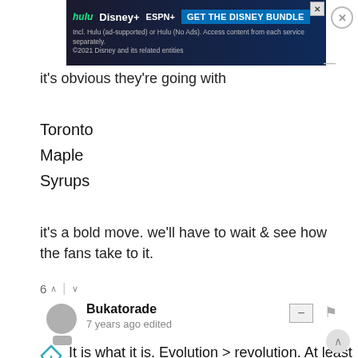[Figure (screenshot): Hulu Disney+ ESPN+ 'Get the Disney Bundle' advertisement banner at top of page]
it's obvious they're going with
Toronto
Maple
Syrups
it's a bold move. we'll have to wait & see how the fans take to it.
6 ∧  |  ∨
Bukatorade
7 years ago edited
It is what it is. Evolution > revolution. At least the arched word isn't as extreme as the Raptors. The last logo is now officially the "No Cup" logo.
2 ∧  |  ∨
Report on ad
[Figure (screenshot): HEADERBIDDING.COM 'Your source for all things programmatic advertising.' advertisement banner]
The new one may be a no Cup logo as well. Just